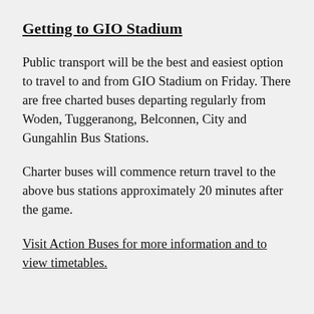Getting to GIO Stadium
Public transport will be the best and easiest option to travel to and from GIO Stadium on Friday. There are free charted buses departing regularly from Woden, Tuggeranong, Belconnen, City and Gungahlin Bus Stations.
Charter buses will commence return travel to the above bus stations approximately 20 minutes after the game.
Visit Action Buses for more information and to view timetables.